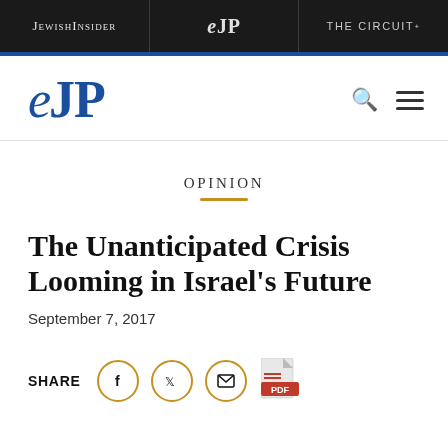JEWISHINSIDER | eJP | THE CIRCUIT+
[Figure (logo): eJP logo in blue serif font with italic e and bold JP]
OPINION
The Unanticipated Crisis Looming in Israel's Future
September 7, 2017
SHARE